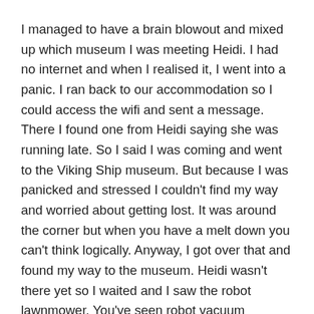I managed to have a brain blowout and mixed up which museum I was meeting Heidi. I had no internet and when I realised it, I went into a panic. I ran back to our accommodation so I could access the wifi and sent a message. There I found one from Heidi saying she was running late. So I said I was coming and went to the Viking Ship museum. But because I was panicked and stressed I couldn't find my way and worried about getting lost. It was around the corner but when you have a melt down you can't think logically. Anyway, I got over that and found my way to the museum. Heidi wasn't there yet so I waited and I saw the robot lawnmower. You've seen robot vacuum cleaners right? Well these robots do the lawn. I want one.
I waited a bit longer, rechecked the messages and Heidi said to go in without her so I started to line up. I was in the